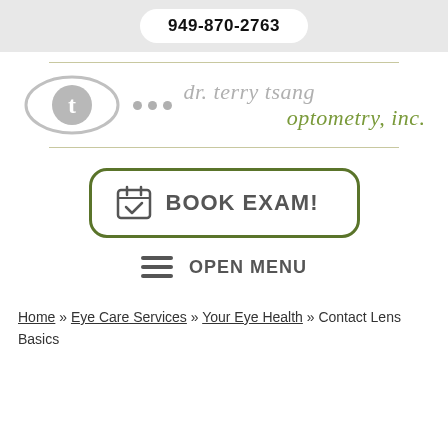949-870-2763
[Figure (logo): Dr. Terry Tsang Optometry, Inc. logo with stylized eye icon, three dots, and brand name text]
BOOK EXAM!
OPEN MENU
Home » Eye Care Services » Your Eye Health » Contact Lens Basics